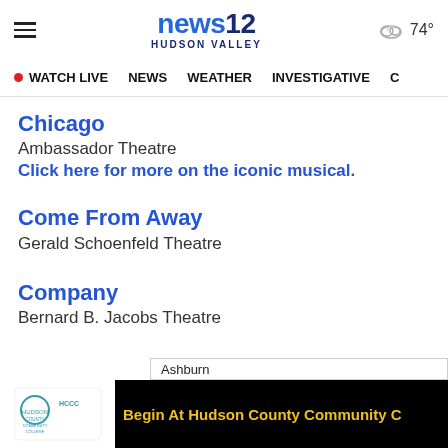news12 HUDSON VALLEY | WATCH LIVE | NEWS | WEATHER | INVESTIGATIVE | 74°
Chicago
Ambassador Theatre
Click here for more on the iconic musical.
Come From Away
Gerald Schoenfeld Theatre
Company
Bernard B. Jacobs Theatre
[Figure (logo): Hudson County Community College logo in white/teal on white background]
Begin At Hudson County Community C